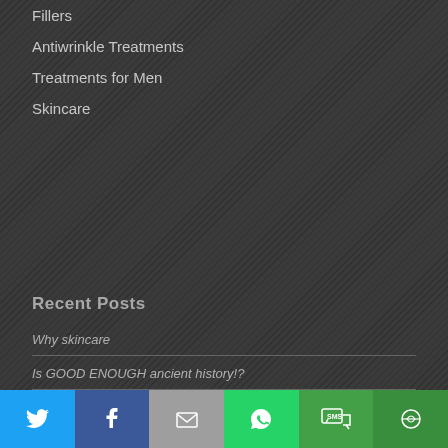Fillers
Antiwrinkle Treatments
Treatments for Men
Skincare
Recent Posts
Why skincare
Is GOOD ENOUGH ancient history!?
Cancer was given to me to help me
Empowering One Another
A Push And A Prod
[Figure (infographic): Social sharing bar with icons for Twitter, Facebook, Email, WhatsApp, SMS, and More]